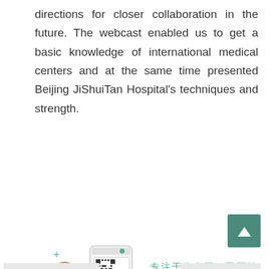directions for closer collaboration in the future. The webcast enabled us to get a basic knowledge of international medical centers and at the same time presented Beijing JiShuiTan Hospital's techniques and strength.
[Figure (illustration): Cartoon illustration of a doctor/medical professional next to a smartphone showing a QR code, with Chinese text beside it reading: 专注于为中国三甲医院做定制化的国际医疗服务 (Focused on providing customized international medical services for China's top-tier hospitals)]